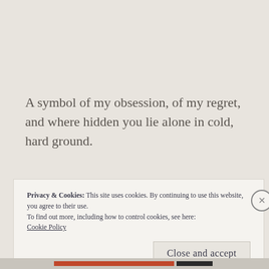A symbol of my obsession, of my regret, and where hidden you lie alone in cold, hard ground.
Privacy & Cookies: This site uses cookies. By continuing to use this website, you agree to their use.
To find out more, including how to control cookies, see here:
Cookie Policy
Close and accept